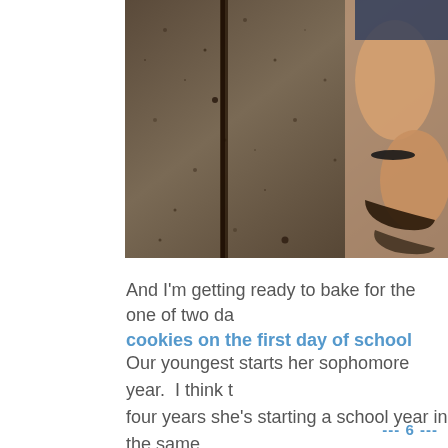[Figure (photo): Close-up photo of a person's feet/sandals on a wet stone or concrete surface, cropped at the top of the page.]
And I'm getting ready to bake for the one of two da cookies on the first day of school
Our youngest starts her sophomore year.  I think t four years she's starting a school year in the same  What a relief for a semi-boring first day of school!
--- 6 ---